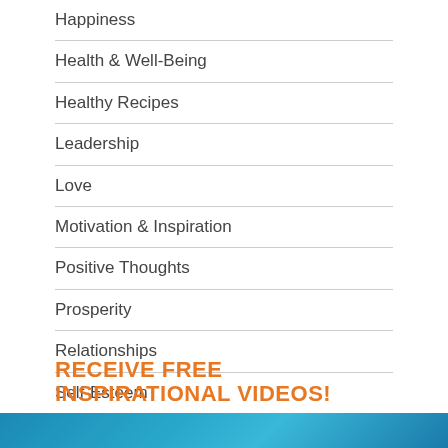Happiness
Health & Well-Being
Healthy Recipes
Leadership
Love
Motivation & Inspiration
Positive Thoughts
Prosperity
Relationships
Self-Esteem
Vision & Purpose
RECEIVE FREE INSPIRATIONAL VIDEOS!
[Figure (photo): Blue banner image at the bottom of the page]